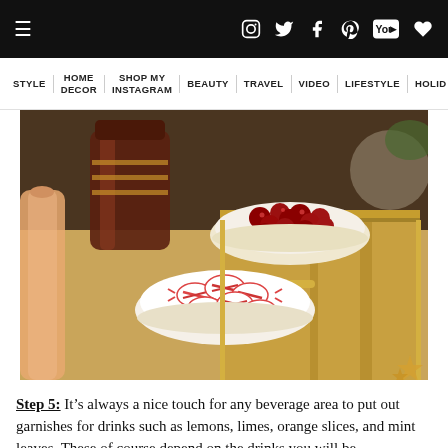≡  [social icons: instagram, twitter, facebook, pinterest, youtube, heart]
STYLE | HOME DECOR | SHOP MY INSTAGRAM | BEAUTY | TRAVEL | VIDEO | LIFESTYLE | HOLID...
[Figure (photo): A gold bar cart or sideboard with two white bowls - one containing fresh cranberries and one containing peppermint candies. A bottle of rosé wine is visible on the left. Christmas star lights are visible at bottom right.]
Step 5: It's always a nice touch for any beverage area to put out garnishes for drinks such as lemons, limes, orange slices, and mint leaves. These of course depend on the drinks you will be